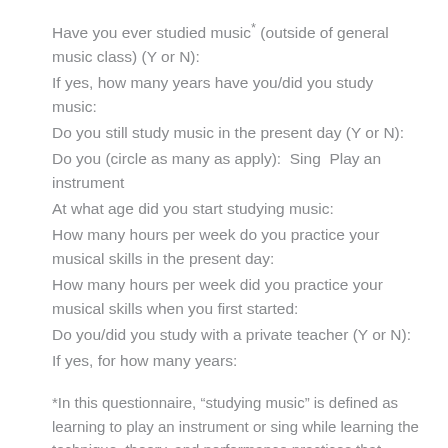Have you ever studied music* (outside of general music class) (Y or N):
If yes, how many years have you/did you study music:
Do you still study music in the present day (Y or N):
Do you (circle as many as apply):  Sing  Play an instrument
At what age did you start studying music:
How many hours per week do you practice your musical skills in the present day:
How many hours per week did you practice your musical skills when you first started:
Do you/did you study with a private teacher (Y or N):
If yes, for how many years:
*In this questionnaire, “studying music” is defined as learning to play an instrument or sing while learning the technique, theory, and performance practices that come along with being